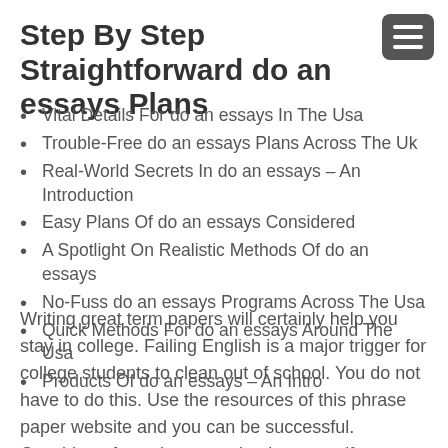Step By Step Straightforward do an essays Plans
Vital Details For do an essays In The Usa
Trouble-Free do an essays Plans Across The Uk
Real-World Secrets In do an essays – An Introduction
Easy Plans Of do an essays Considered
A Spotlight On Realistic Methods Of do an essays
No-Fuss do an essays Programs Across The Usa
Quick Methods For do an essays Around The Usa
Products Of do an essays – An Intro
Writing great term papers will certainly help you stay in college. Failing English is a major trigger for college students to clean out of school. You do not have to do this. Use the resources of this phrase paper website and you can be successful. Consider a few minutes and at least see if you can comprehend what I am telling you on how to great